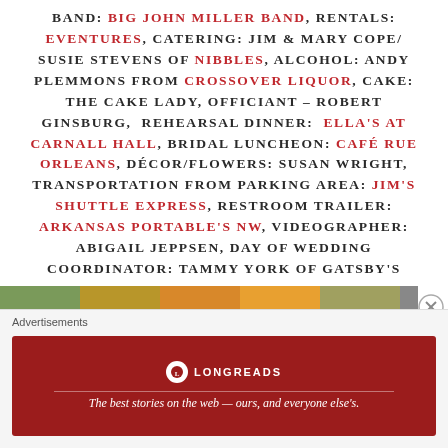BAND: BIG JOHN MILLER BAND, RENTALS: EVENTURES, CATERING: JIM & MARY COPE/ SUSIE STEVENS OF NIBBLES, ALCOHOL: ANDY PLEMMONS FROM CROSSOVER LIQUOR, CAKE: THE CAKE LADY, OFFICIANT – ROBERT GINSBURG, REHEARSAL DINNER: ELLA'S AT CARNALL HALL, BRIDAL LUNCHEON: CAFÉ RUE ORLEANS, DÉCOR/FLOWERS: SUSAN WRIGHT, TRANSPORTATION FROM PARKING AREA: JIM'S SHUTTLE EXPRESS, RESTROOM TRAILER: ARKANSAS PORTABLE'S NW, VIDEOGRAPHER: ABIGAIL JEPPSEN, DAY OF WEDDING COORDINATOR: TAMMY YORK OF GATSBY'S EVENT MANAGEMENT
[Figure (photo): Partial photo strip visible at bottom of main content area]
Advertisements
[Figure (infographic): Longreads advertisement banner: The best stories on the web — ours, and everyone else's.]